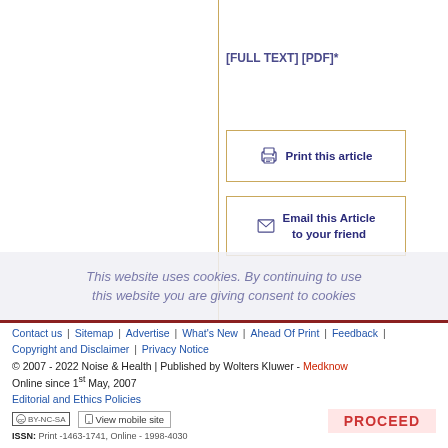[FULL TEXT] [PDF]*
[Figure (other): Print this article button with printer icon, gold border]
[Figure (other): Email this Article to your friend button with envelope icon, gold border]
This website uses cookies. By continuing to use this website you are giving consent to cookies
Contact us | Sitemap | Advertise | What's New | Ahead Of Print | Feedback | Copyright and Disclaimer | Privacy Notice
© 2007 - 2022 Noise & Health | Published by Wolters Kluwer - Medknow
Online since 1st May, 2007
Editorial and Ethics Policies
[CC BY-NC-SA] View mobile site  PROCEED
ISSN: Print -1463-1741, Online - 1998-4030